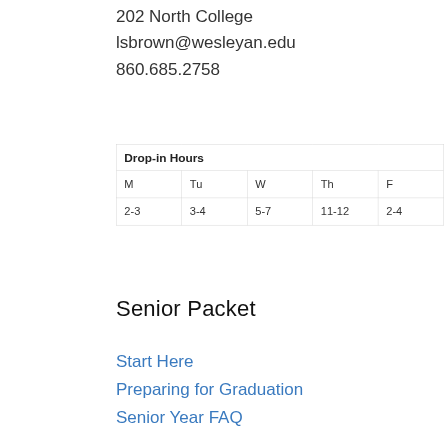202 North College
lsbrown@wesleyan.edu
860.685.2758
| Drop-in Hours |
| --- |
| M | Tu | W | Th | F |
| 2-3 | 3-4 | 5-7 | 11-12 | 2-4 |
Senior Packet
Start Here
Preparing for Graduation
Senior Year FAQ